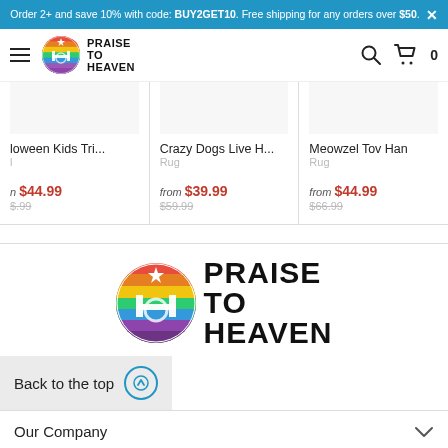Order 2+ and save 10% with code: BUY2GET10. Free shipping for any orders over $50.
[Figure (logo): Praise to Heaven rainbow logo with navigation bar including hamburger menu, search icon, and cart icon showing 0 items]
loween Kids Tri... | n $44.99 $-.99
Crazy Dogs Live H... Rug from $39.99 $59.99
Meowzel Tov Han Rug from $44.99 $66.99
[Figure (logo): Praise to Heaven large footer logo with rainbow circular emblem and bold black text PRAISE TO HEAVEN]
Back to the top
Our Company